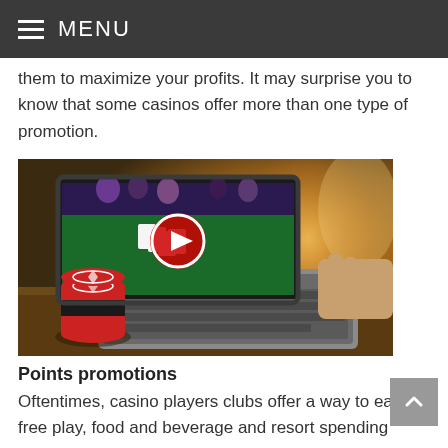MENU
them to maximize your profits. It may surprise you to know that some casinos offer more than one type of promotion.
[Figure (photo): A laptop showing an online casino card game with a play button overlay and poker chips stacked in the foreground, placed on a wooden table with blurred casino lights in the background.]
Points promotions
Oftentimes, casino players clubs offer a way to earn free play, food and beverage and resort spending through point-based rewards. Points promotions may also provide players with an accelerated rate of bonus points ace96